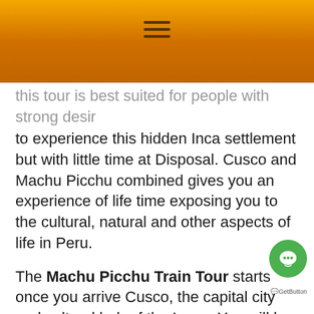[Figure (other): Orange gradient header bar with hamburger menu icon (three horizontal lines) centered at top]
this tour is best suited for people with strong desire to experience this hidden Inca settlement but with little time at Disposal. Cusco and Machu Picchu combined gives you an experience of life time exposing you to the cultural, natural and other aspects of life in Peru.
The Machu Picchu Train Tour starts once you arrive Cusco, the capital city and cultural hub of the Incas. You will be spending 3 hours riding the train from Cusco to «Aguas calientes», then you'll experience the life style, culture and diversity of Machu Picchu. We will visit places of various interests such as ancient palace areas, temples and its heritage sites is a unique experience for westerners as it is a place